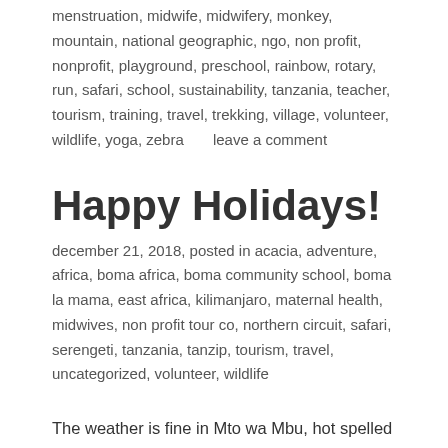menstruation, midwife, midwifery, monkey, mountain, national geographic, ngo, non profit, nonprofit, playground, preschool, rainbow, rotary, run, safari, school, sustainability, tanzania, teacher, tourism, training, travel, trekking, village, volunteer, wildlife, yoga, zebra      leave a comment
Happy Holidays!
december 21, 2018, posted in acacia, adventure, africa, boma africa, boma community school, boma la mama, east africa, kilimanjaro, maternal health, midwives, non profit tour co, northern circuit, safari, serengeti, tanzania, tanzip, tourism, travel, uncategorized, volunteer, wildlife
The weather is fine in Mto wa Mbu, hot spelled off with rain as we are into the short rainy season. We are looking forward to pilau and goat bbq on Christmas Eve!
2018 was full of projects and new adventures, and in